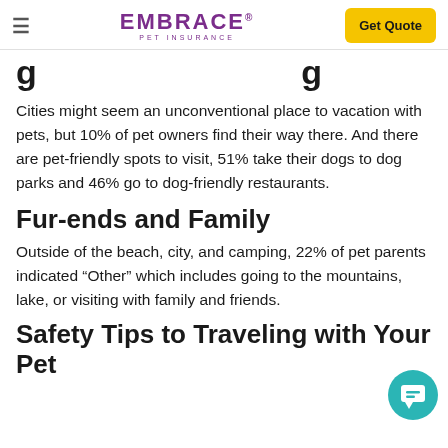EMBRACE PET INSURANCE — Get Quote
g...g (partial title visible)
Cities might seem an unconventional place to vacation with pets, but 10% of pet owners find their way there. And there are pet-friendly spots to visit, 51% take their dogs to dog parks and 46% go to dog-friendly restaurants.
Fur-ends and Family
Outside of the beach, city, and camping, 22% of pet parents indicated “Other” which includes going to the mountains, lake, or visiting with family and friends.
Safety Tips to Traveling with Your Pet